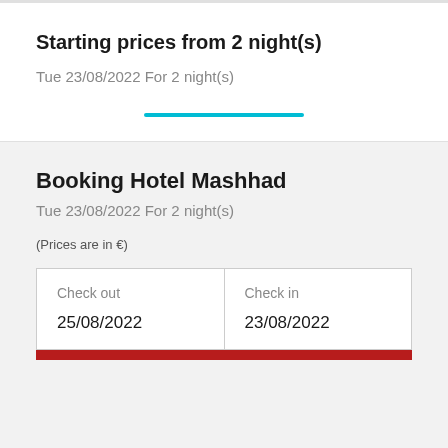Starting prices from 2 night(s)
Tue 23/08/2022 For 2 night(s)
Booking Hotel Mashhad
Tue 23/08/2022 For 2 night(s)
(Prices are in €)
| Check out | Check in |
| --- | --- |
| 25/08/2022 | 23/08/2022 |